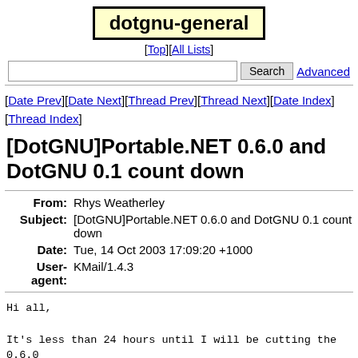dotgnu-general
[Top][All Lists]
Search  Advanced
[Date Prev][Date Next][Thread Prev][Thread Next][Date Index][Thread Index]
[DotGNU]Portable.NET 0.6.0 and DotGNU 0.1 count down
| Field | Value |
| --- | --- |
| From | Rhys Weatherley |
| Subject | [DotGNU]Portable.NET 0.6.0 and DotGNU 0.1 count down |
| Date | Tue, 14 Oct 2003 17:09:20 +1000 |
| User-agent | KMail/1.4.3 |
Hi all,

It's less than 24 hours until I will be cutting the 0.6.0 Portable.NET, to become part of DotGNU 0.1.  So, if you h